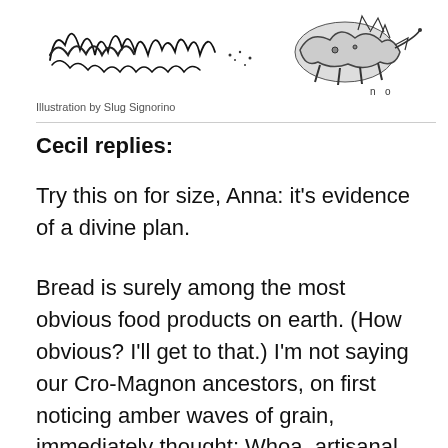[Figure (illustration): Hand-drawn illustration, appears to be a sketch with cursive/scrawled text and figures, black ink on white background, by Slug Signorino]
Illustration by Slug Signorino
Cecil replies:
Try this on for size, Anna: it’s evidence of a divine plan.
Bread is surely among the most obvious food products on earth. (How obvious? I’ll get to that.) I’m not saying our Cro-Magnon ancestors, on first noticing amber waves of grain, immediately thought: Whoa, artisanal baguettes! There were, naturally, some intervening steps. But none of them required any great insight, the addition of yeast possibly